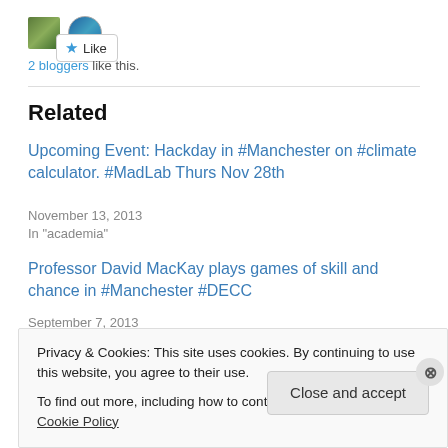[Figure (other): Like button with star icon and two blogger avatar thumbnails]
2 bloggers like this.
Related
Upcoming Event: Hackday in #Manchester on #climate calculator. #MadLab Thurs Nov 28th
November 13, 2013
In "academia"
Professor David MacKay plays games of skill and chance in #Manchester #DECC
September 7, 2013
Privacy & Cookies: This site uses cookies. By continuing to use this website, you agree to their use.
To find out more, including how to control cookies, see here: Cookie Policy
Close and accept